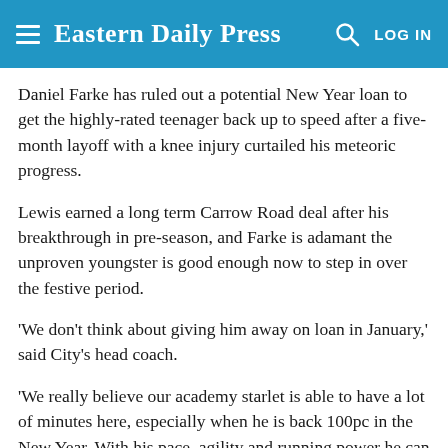Eastern Daily Press
Daniel Farke has ruled out a potential New Year loan to get the highly-rated teenager back up to speed after a five-month layoff with a knee injury curtailed his meteoric progress.
Lewis earned a long term Carrow Road deal after his breakthrough in pre-season, and Farke is adamant the unproven youngster is good enough now to step in over the festive period.
'We don't think about giving him away on loan in January,' said City's head coach.
'We really believe our academy starlet is able to have a lot of minutes here, especially when he is back 100pc in the New Year. With his pace, agility and running power he can play as a left back or a left winger.